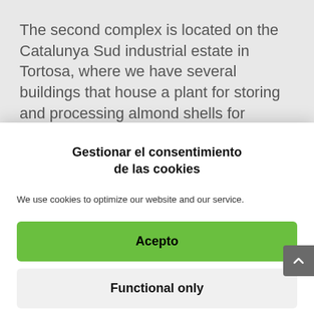The second complex is located on the Catalunya Sud industrial estate in Tortosa, where we have several buildings that house a plant for storing and processing almond shells for domestic heating as a substitute for pellets and for
Gestionar el consentimiento de las cookies
We use cookies to optimize our website and our service.
Acepto
Functional only
Settings